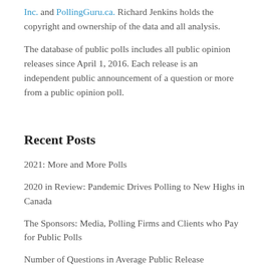Inc. and PollingGuru.ca. Richard Jenkins holds the copyright and ownership of the data and all analysis.
The database of public polls includes all public opinion releases since April 1, 2016. Each release is an independent public announcement of a question or more from a public opinion poll.
Recent Posts
2021: More and More Polls
2020 in Review: Pandemic Drives Polling to New Highs in Canada
The Sponsors: Media, Polling Firms and Clients who Pay for Public Polls
Number of Questions in Average Public Release
2019 | A Year in the Polls